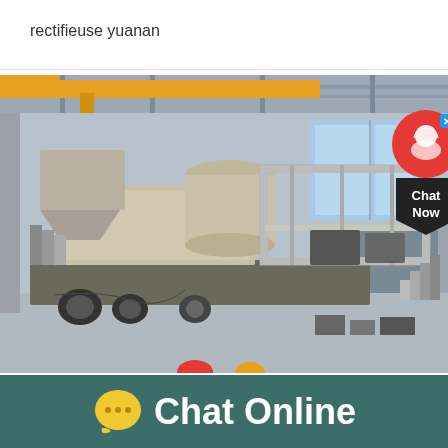rectifieuse yuanan
[Figure (photo): Industrial mobile sand making / crushing machine inside a factory/warehouse with yellow overhead crane, metal structure platform, cylindrical unit on top, trailer base with wheels, housed in a large industrial facility]
[Figure (other): Chat Now button overlay - red circle with person icon on top, dark pentagon shape below with 'Chat Now' text]
Chat Online